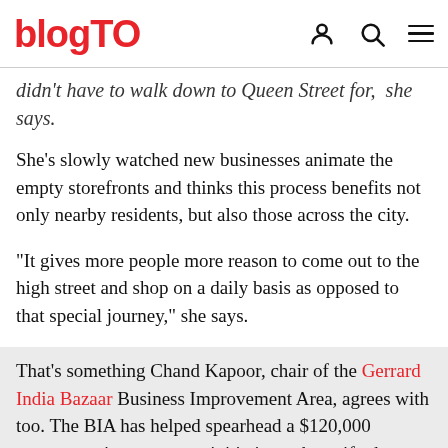blogTO
didn't have to walk down to Queen Street for," she says.
She's slowly watched new businesses animate the empty storefronts and thinks this process benefits not only nearby residents, but also those across the city.
"It gives more people more reason to come out to the high street and shop on a daily basis as opposed to that special journey," she says.
That's something Chand Kapoor, chair of the Gerrard India Bazaar Business Improvement Area, agrees with too. The BIA has helped spearhead a $120,000 streetscape improvement initiative to beautify the area.